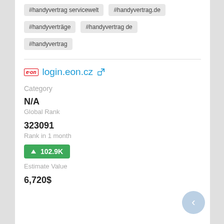#handyvertrag servicewelt
#handyvertrag.de
#handyverträge
#handyvertrag de
#handyvertrag
login.eon.cz
Category
N/A
Global Rank
323091
Rank in 1 month
↑ 102.9K
Estimate Value
6,720$